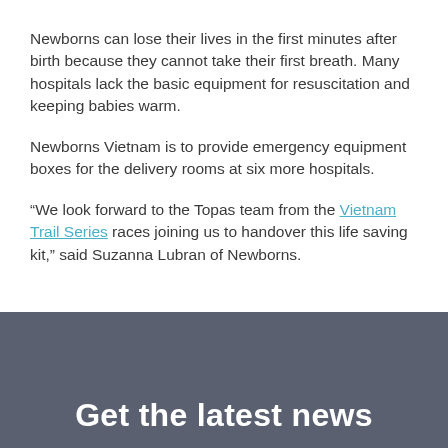Newborns can lose their lives in the first minutes after birth because they cannot take their first breath. Many hospitals lack the basic equipment for resuscitation and keeping babies warm.
Newborns Vietnam is to provide emergency equipment boxes for the delivery rooms at six more hospitals.
“We look forward to the Topas team from the Vietnam Trail Series races joining us to handover this life saving kit,” said Suzanna Lubran of Newborns.
Get the latest news